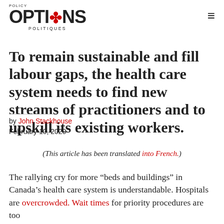POLICY OPTIONS POLITIQUES
To remain sustainable and fill labour gaps, the health care system needs to find new streams of practitioners and to upskill its existing workers.
by John Stackhouse
February 10, 2020
(This article has been translated into French.)
The rallying cry for more “beds and buildings” in Canada’s health care system is understandable. Hospitals are overcrowded. Wait times for priority procedures are too